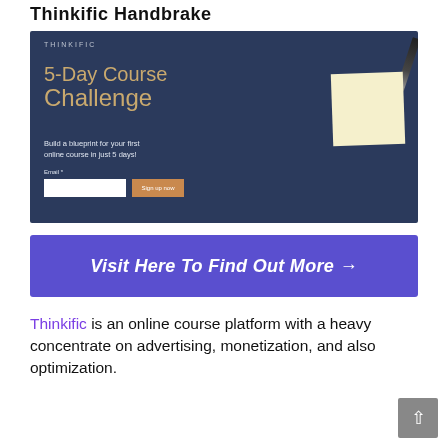Thinkific Handbrake
[Figure (screenshot): Thinkific 5-Day Course Challenge promotional banner. Dark navy background with text '5-Day Course Challenge', subtitle 'Build a blueprint for your first online course in just 5 days!', email input field, and 'Sign up now' button. A yellow sticky note and pen visible on right side.]
[Figure (infographic): Blue/purple call-to-action button with white bold italic text 'Visit Here To Find Out More →']
Thinkific is an online course platform with a heavy concentrate on advertising, monetization, and also optimization.